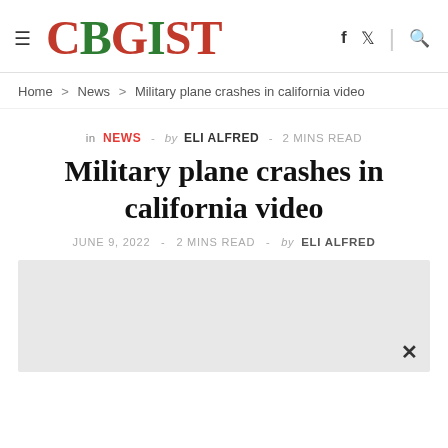CBGIST
Home > News > Military plane crashes in california video
in NEWS - by ELI ALFRED - 2 MINS READ
Military plane crashes in california video
JUNE 9, 2022 - 2 MINS READ - by ELI ALFRED
[Figure (photo): Image placeholder area, partially visible, gray box]